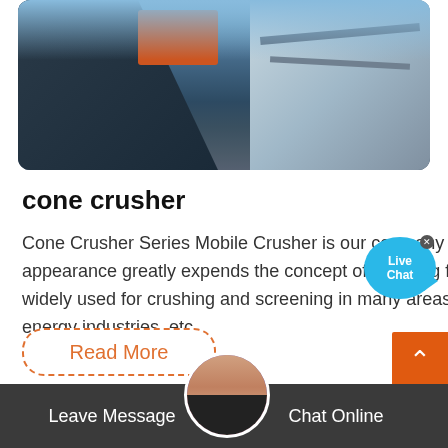[Figure (photo): Industrial crane/port facility with orange container and metal structures against blue sky]
cone crusher
Cone Crusher Series Mobile Crusher is our company newly developed ore-crushing equipment, whose appearance greatly expends the concept of crushing field. Cone Crusher Series Mobile Crusher Plant can be widely used for crushing and screening in many areas such as road construction, building, metallurgical and energy industries, etc.
[Figure (other): Live Chat bubble button]
Read More
Leave Message   Chat Online